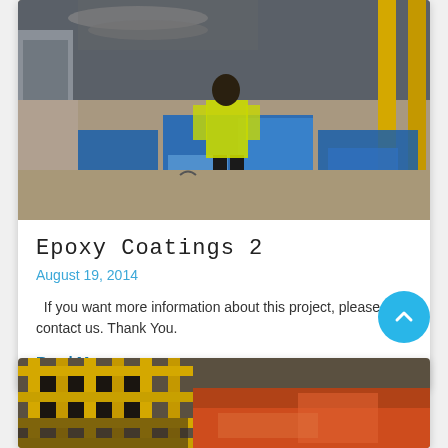[Figure (photo): Worker in yellow safety vest applying blue epoxy coating on industrial concrete floor. Buckets of coating material visible. Industrial warehouse setting with metal pipes and yellow structural columns in background.]
Epoxy Coatings 2
August 19, 2014
If you want more information about this project, please contact us. Thank You.
Read More
[Figure (photo): Partial view of industrial floor with yellow grid/fence structure and red/orange epoxy coating applied to floor. Partially visible at bottom of page.]